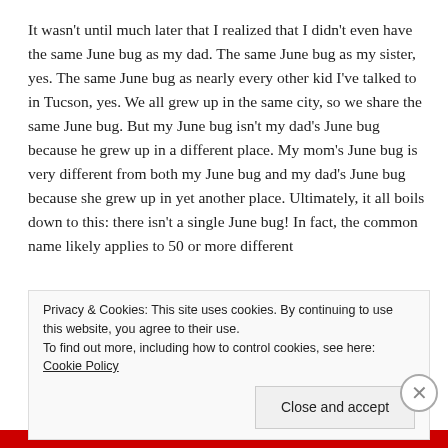It wasn't until much later that I realized that I didn't even have the same June bug as my dad.  The same June bug as my sister, yes.  The same June bug as nearly every other kid I've talked to in Tucson, yes.  We all grew up in the same city, so we share the same June bug.  But my June bug isn't my dad's June bug because he grew up in a different place.  My mom's June bug is very different from both my June bug and my dad's June bug because she grew up in yet another place.  Ultimately, it all boils down to this: there isn't a single June bug!  In fact, the common name likely applies to 50 or more different
Privacy & Cookies: This site uses cookies. By continuing to use this website, you agree to their use.
To find out more, including how to control cookies, see here: Cookie Policy
Close and accept
Advertisements